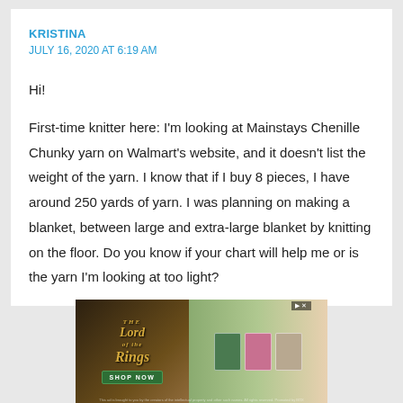KRISTINA
JULY 16, 2020 AT 6:19 AM
Hi!
First-time knitter here: I’m looking at Mainstays Chenille Chunky yarn on Walmart’s website, and it doesn’t list the weight of the yarn. I know that if I buy 8 pieces, I have around 250 yards of yarn. I was planning on making a blanket, between large and extra-large blanket by knitting on the floor. Do you know if your chart will help me or is the yarn I’m looking at too light?
[Figure (photo): Advertisement for The Lord of the Rings branded merchandise with 'SHOP NOW' button and product cards shown on right side]